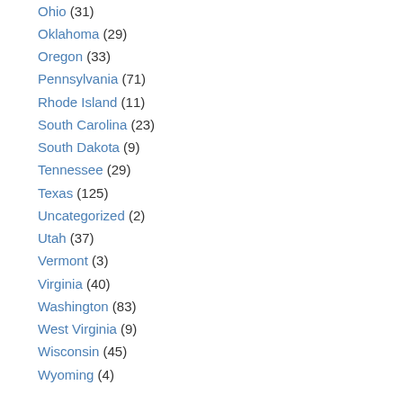Ohio (31)
Oklahoma (29)
Oregon (33)
Pennsylvania (71)
Rhode Island (11)
South Carolina (23)
South Dakota (9)
Tennessee (29)
Texas (125)
Uncategorized (2)
Utah (37)
Vermont (3)
Virginia (40)
Washington (83)
West Virginia (9)
Wisconsin (45)
Wyoming (4)